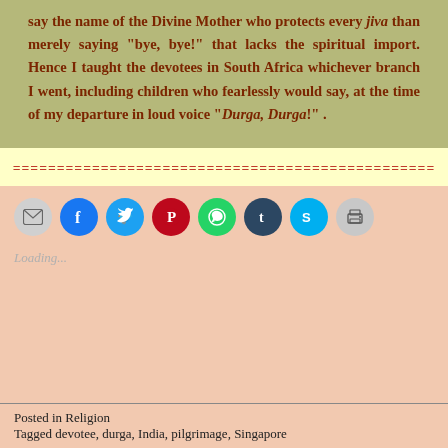say the name of the Divine Mother who protects every jiva than merely saying "bye, bye!" that lacks the spiritual import. Hence I taught the devotees in South Africa whichever branch I went, including children who fearlessly would say, at the time of my departure in loud voice "Durga, Durga!" .
================================================
[Figure (infographic): Row of social share buttons: email (gray), Facebook (blue), Twitter (light blue), Pinterest (red), WhatsApp (green), Tumblr (dark blue), Skype (sky blue), Print (gray)]
Loading...
Posted in Religion
Tagged devotee, durga, India, pilgrimage, Singapore